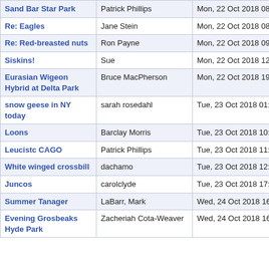| Subject | Sender | Date |
| --- | --- | --- |
| Sand Bar Star Park | Patrick Phillips | Mon, 22 Oct 2018 08:58:54 -0400 |
| Re: Eagles | Jane Stein | Mon, 22 Oct 2018 08:59:55 -0400 |
| Re: Red-breasted nuts | Ron Payne | Mon, 22 Oct 2018 09:15:46 -0400 |
| Siskins! | Sue | Mon, 22 Oct 2018 12:39:24 -0400 |
| Eurasian Wigeon Hybrid at Delta Park | Bruce MacPherson | Mon, 22 Oct 2018 19:33:59 -0400 |
| snow geese in NY today | sarah rosedahl | Tue, 23 Oct 2018 01:42:27 +0000 |
| Loons | Barclay Morris | Tue, 23 Oct 2018 10:41:39 -0400 |
| Leucistc CAGO | Patrick Phillips | Tue, 23 Oct 2018 11:42:52 -0400 |
| White winged crossbill | dachamo | Tue, 23 Oct 2018 12:08:56 -0400 |
| Juncos | carolclyde | Tue, 23 Oct 2018 17:59:47 -0400 |
| Summer Tanager | LaBarr, Mark | Wed, 24 Oct 2018 16:11:36 +0000 |
| Evening Grosbeaks Hyde Park | Zacheriah Cota-Weaver | Wed, 24 Oct 2018 16:58:21 -0400 |